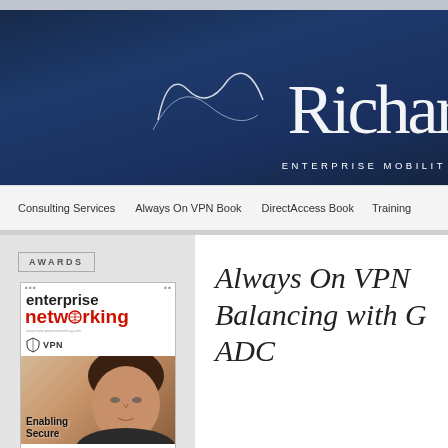[Figure (logo): Dark navy blue header banner with cursive signature reading 'Richar...' (partially cropped) and text 'ENTERPRISE MOBILIT...' below it]
Consulting Services   Always On VPN Book   DirectAccess Book   Training
AWARDS
[Figure (photo): Cover of Enterprise Networking magazine showing a man's face, with VPN logo, and text 'Enabling Secure']
Always On VPN Balancing with C ADC